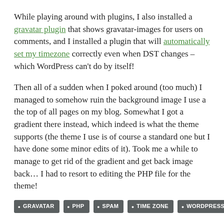While playing around with plugins, I also installed a gravatar plugin that shows gravatar-images for users on comments, and I installed a plugin that will automatically set my timezone correctly even when DST changes – which WordPress can't do by itself!
Then all of a sudden when I poked around (too much) I managed to somehow ruin the background image I use a the top of all pages on my blog. Somewhat I got a gradient there instead, which indeed is what the theme supports (the theme I use is of course a standard one but I have done some minor edits of it). Took me a while to manage to get rid of the gradient and get back image back... I had to resort to editing the PHP file for the theme!
GRAVATAR
PHP
SPAM
TIME ZONE
WORDPRESS